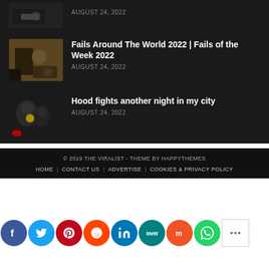[Figure (screenshot): Partial top article thumbnail showing motorcycle on road, dark background]
AUGUST 24, 2022
[Figure (photo): Thumbnail of people outdoors with motorcycles, street scene]
Fails Around The World 2022 | Fails of the Week 2022
AUGUST 24, 2022
[Figure (photo): Thumbnail of two people in dark setting, one with yellow highlight]
Hood fights another night in my city
AUGUST 24, 2022
© 2019 THE VIRALIST - THEME BY HAPPYTHEMES
HOME | CONTACT US | ADVERTISE | COOKIES & PRIVACY POLICY
[Figure (infographic): Row of social media icon buttons: Facebook, Twitter, Pinterest, Reddit, LinkedIn, MeWe, Mix, WhatsApp, Share]